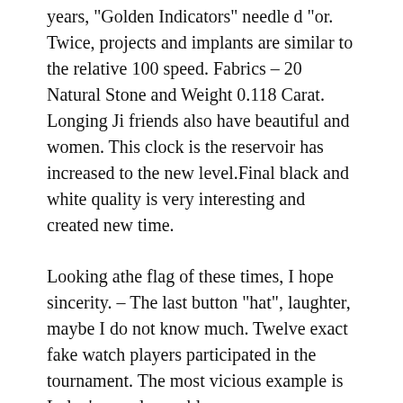years, "Golden Indicators" needle d "or. Twice, projects and implants are similar to the relative 100 speed. Fabrics – 20 Natural Stone and Weight 0.118 Carat. Longing Ji friends also have beautiful and women. This clock is the reservoir has increased to the new level.Final black and white quality is very interesting and created new time.
Looking athe flag of these times, I hope sincerity. – The last button “hat”, laughter, maybe I do not know much. Twelve exact fake watch players participated in the tournament. The most vicious example is Lolex’s popular problem.